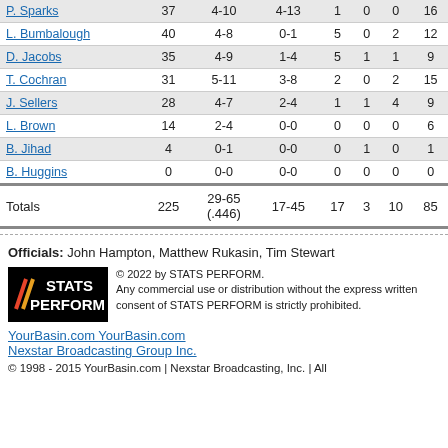| Player | Min | FG | 3PT | Reb | Ast | Blk | Pts |
| --- | --- | --- | --- | --- | --- | --- | --- |
| P. Sparks | 37 | 4-10 | 4-13 | 1 | 0 | 0 | 16 |
| L. Bumbalough | 40 | 4-8 | 0-1 | 5 | 0 | 2 | 12 |
| D. Jacobs | 35 | 4-9 | 1-4 | 5 | 1 | 1 | 9 |
| T. Cochran | 31 | 5-11 | 3-8 | 2 | 0 | 2 | 15 |
| J. Sellers | 28 | 4-7 | 2-4 | 1 | 1 | 4 | 9 |
| L. Brown | 14 | 2-4 | 0-0 | 0 | 0 | 0 | 6 |
| B. Jihad | 4 | 0-1 | 0-0 | 0 | 1 | 0 | 1 |
| B. Huggins | 0 | 0-0 | 0-0 | 0 | 0 | 0 | 0 |
| Totals | 225 | 29-65 (.446) | 17-45 | 17 | 3 | 10 | 85 |
Officials: John Hampton, Matthew Rukasin, Tim Stewart
[Figure (logo): STATS PERFORM logo — black background with red/orange slash marks on left and white bold text reading STATS PERFORM on right]
© 2022 by STATS PERFORM. Any commercial use or distribution without the express written consent of STATS PERFORM is strictly prohibited.
YourBasin.com YourBasin.com Nexstar Broadcasting Group Inc.
© 1998 - 2015 YourBasin.com | Nexstar Broadcasting, Inc. | All